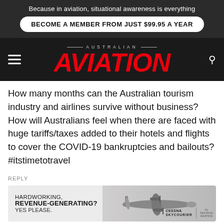Because in aviation, situational awareness is everything
BECOME A MEMBER FROM JUST $99.95 A YEAR
[Figure (logo): Australian Aviation magazine logo with red italic AVIATION text on dark background]
How many months can the Australian tourism industry and airlines survive without business? How will Australians feel when there are faced with huge tariffs/taxes added to their hotels and flights to cover the COVID-19 bankruptcies and bailouts? #itstimetotravel
REPLY
[Figure (other): Advertisement: HARDWORKING, REVENUE-GENERATING? YES PLEASE. Cessna SkyCourier aircraft image with Cessna and Textron Aviation logos]
Tony